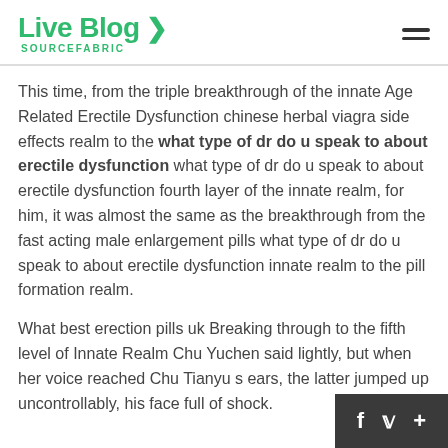Live Blog SOURCEFABRIC
This time, from the triple breakthrough of the innate Age Related Erectile Dysfunction chinese herbal viagra side effects realm to the what type of dr do u speak to about erectile dysfunction what type of dr do u speak to about erectile dysfunction fourth layer of the innate realm, for him, it was almost the same as the breakthrough from the fast acting male enlargement pills what type of dr do u speak to about erectile dysfunction innate realm to the pill formation realm.
What best erection pills uk Breaking through to the fifth level of Innate Realm Chu Yuchen said lightly, but when her voice reached Chu Tianyu s ears, the latter jumped up uncontrollably, his face full of shock.